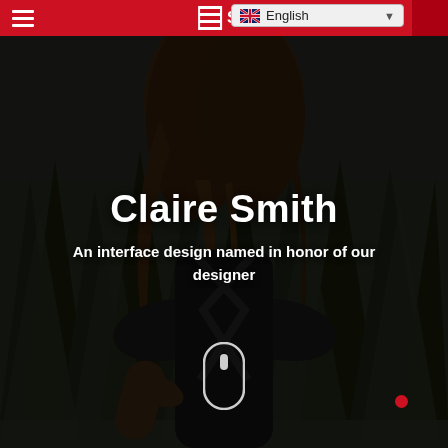Navigation bar with hamburger menu, logo, and language selector (English)
[Figure (photo): Dark atmospheric photo of a woman with long wavy hair seen from behind, standing in front of a forest of dark evergreen trees. She is wearing a dark top with crossed back straps.]
Claire Smith
An interface design named in honor of our designer